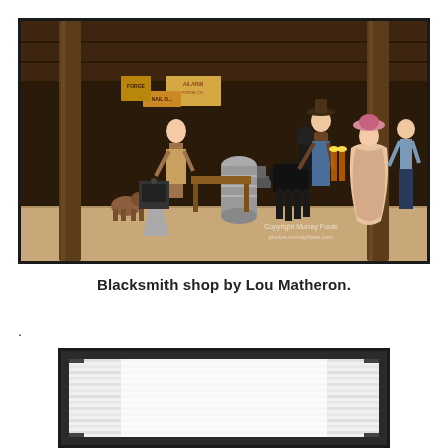[Figure (photo): A detailed miniature diorama of a blacksmith shop with Western theme. Inside a wooden-framed open-front display, multiple figurines are arranged: a woman in apron, a cowboy holding a black horse, a woman in Victorian dress, a young man, a dog, and various shop props including barrels, tools, and signage. Watermark reads 'Copyright Murray Foote photos.murrayfoote.com'.]
Blacksmith shop by Lou Matheron.
.
[Figure (photo): A second framed photograph showing a partial interior scene — appears to be a bright illuminated display case or lightbox with horizontal lines/slats visible, viewed from a low angle inside a dark frame.]